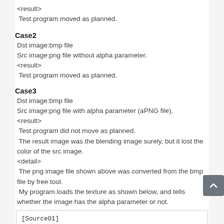<result>
 Test program moved as planned.
Case2
Dst image:bmp file
Src image:png file without alpha parameter.
<result>
 Test program moved as planned.
Case3
Dst image:bmp file
Src image:png file with alpha parameter (aPNG file).
<result>
 Test program did not move as planned.
 The result image was the blending image surely, but it lost the color of the src image.
<detail>
 The png image file shown above was converted from the bmp file by free tool.
 My program loads the texture as shown below, and tells whether the image has the alpha parameter or not.
[Source01]
    textureSrc = TextureLoader.getTexture("PN
    System.out.println(" Image Alpha   : "+te